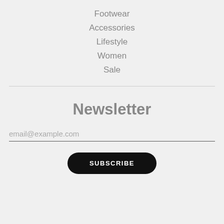Footwear
Accessories
Lifestyle
Women
Sale
Newsletter
email@example.com
SUBSCRIBE